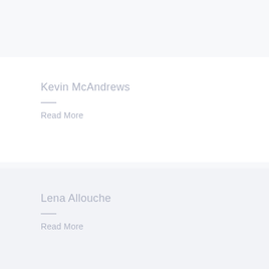Kevin McAndrews
Read More
Lena Allouche
Read More